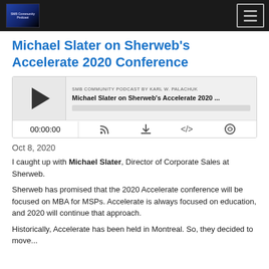SMB Community Podcast
Michael Slater on Sherweb's Accelerate 2020 Conference
[Figure (other): Embedded podcast audio player showing 'SMB COMMUNITY PODCAST BY KARL W. PALACHUK' with episode title 'Michael Slater on Sherweb's Accelerate 2020 ...' and playback controls showing 00:00:00]
Oct 8, 2020
I caught up with Michael Slater, Director of Corporate Sales at Sherweb.
Sherweb has promised that the 2020 Accelerate conference will be focused on MBA for MSPs. Accelerate is always focused on education, and 2020 will continue that approach.
Historically, Accelerate has been held in Montreal. So, they decided to move...